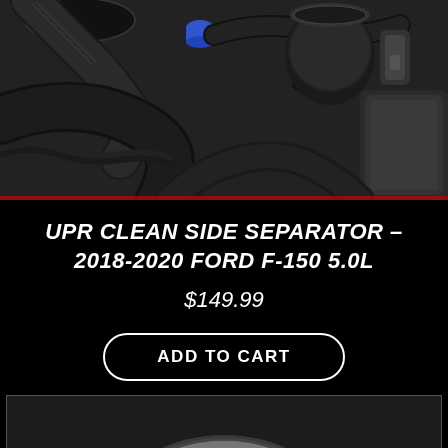[Figure (photo): Close-up photo of an engine bay showing black hoses, tubes, connectors with red and blue markings, and yellow electrical connector visible on the right side]
UPR CLEAN SIDE SEPARATOR – 2018-2020 FORD F-150 5.0L
$149.99
ADD TO CART
[Figure (photo): Partial photo of a grey/black automotive part on dark background, bottom of page]